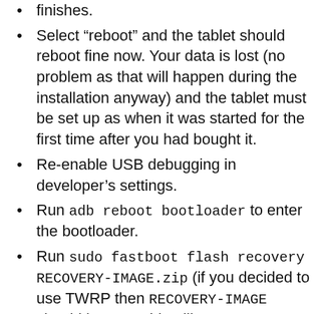finishes.
Select “reboot” and the tablet should reboot fine now. Your data is lost (no problem as that will happen during the installation anyway) and the tablet must be set up as when it was started for the first time after you had bought it.
Re-enable USB debugging in developer’s settings.
Run adb reboot bootloader to enter the bootloader.
Run sudo fastboot flash recovery RECOVERY-IMAGE.zip (if you decided to use TWRP then RECOVERY-IMAGE should be something like openrecovery-twrp-*-manta.img).
Select “power off” on the tablet.